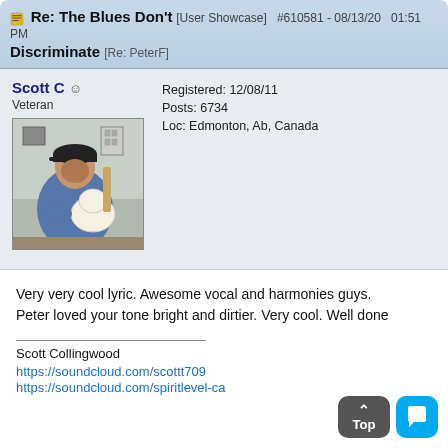Re: The Blues Don't [User Showcase] #610581 - 08/13/20 01:51 PM Discriminate [Re: PeterF]
Scott C
Veteran
Registered: 12/08/11
Posts: 6734
Loc: Edmonton, Ab, Canada
[Figure (photo): Photo of Scott C playing electric guitar, wearing a dark cap and blue shirt]
Very very cool lyric. Awesome vocal and harmonies guys. Peter loved your tone bright and dirtier. Very cool. Well done
Scott Collingwood
https://soundcloud.com/scottt709
https://soundcloud.com/spiritlevel-ca